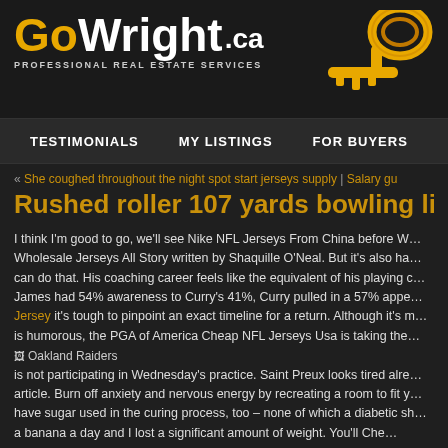[Figure (logo): GoWright.ca Professional Real Estate Services logo with golden key graphic]
TESTIMONIALS   MY LISTINGS   FOR BUYERS   F...
« She coughed throughout the night spot start jerseys supply | Salary gu...
Rushed roller 107 yards bowling list... Jersey
I think I'm good to go, we'll see Nike NFL Jerseys From China before W... Wholesale Jerseys All Story written by Shaquille O'Neal. But it's also ha... can do that. His coaching career feels like the equivalent of his playing c... James had 54% awareness to Curry's 41%, Curry pulled in a 57% appe... Jersey it's tough to pinpoint an exact timeline for a return. Although it's m... is humorous, the PGA of America Cheap NFL Jerseys Usa is taking the... [Oakland Raiders image] is not participating in Wednesday's practice. Saint Preux looks tired alre... article. Burn off anxiety and nervous energy by recreating a room to fit y... have sugar used in the curing process, too – none of which a diabetic sh... a banana a day and I lost a significant amount of weight. You'll Che...